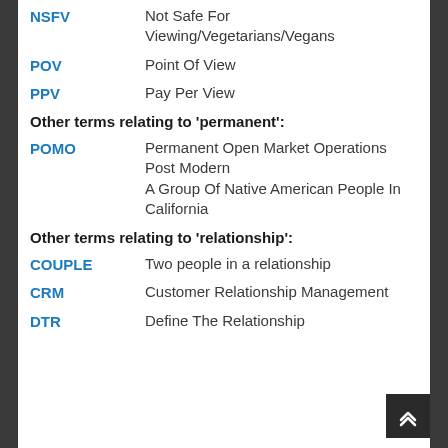NSFV — Not Safe For Viewing/Vegetarians/Vegans
POV — Point Of View
PPV — Pay Per View
Other terms relating to 'permanent':
POMO — Permanent Open Market Operations / Post Modern / A Group Of Native American People In California
Other terms relating to 'relationship':
COUPLE — Two people in a relationship
CRM — Customer Relationship Management
DTR — Define The Relationship